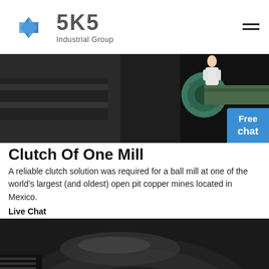[Figure (logo): SKS Industrial Group logo with blue diamond/arrow icon and grey SKS text with 'Industrial Group' subtitle]
[Figure (photo): Industrial machinery photo showing a cylindrical green/teal component (likely a clutch or coupling) attached to mill equipment, dark industrial setting]
Clutch Of One Mill
A reliable clutch solution was required for a ball mill at one of the world’s largest (and oldest) open pit copper mines located in Mexico.
Live Chat
[Figure (photo): Close-up photo of industrial clutch/coupling component, dark metallic surface with circular flanged disc visible, black background]